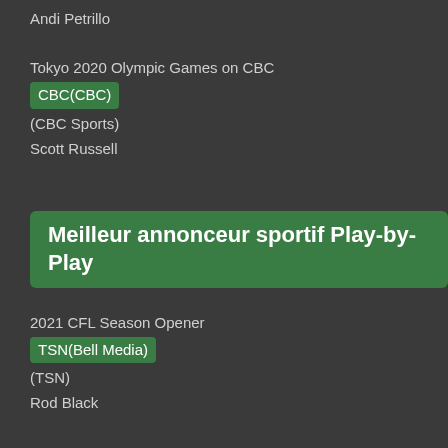Andi Petrillo
Tokyo 2020 Olympic Games on CBC
CBC(CBC)
(CBC Sports)
Scott Russell
Meilleur annonceur sportif Play-by-Play
2021 CFL Season Opener
TSN(Bell Media)
(TSN)
Rod Black
Blue Jays on Sportsnet
Sportsnet(Rogers Sports & Media)
(Sportsnet)
Dan Shulman